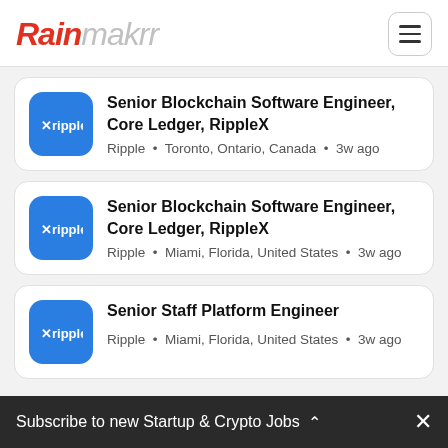Rainmakrr
Senior Blockchain Software Engineer, Core Ledger, RippleX — Ripple • Toronto, Ontario, Canada • 3w ago
Senior Blockchain Software Engineer, Core Ledger, RippleX — Ripple • Miami, Florida, United States • 3w ago
Senior Staff Platform Engineer — Ripple • Miami, Florida, United States • 3w ago
Subscribe to new Startup & Crypto Jobs